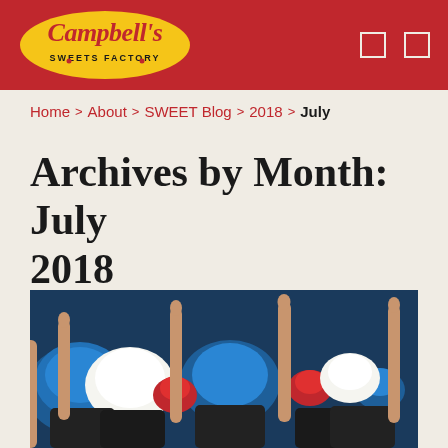Campbell's Sweets Factory
Home > About > SWEET Blog > 2018 > July
Archives by Month: July 2018
[Figure (photo): Close-up photo of red, white, and blue frosted cupcakes with wooden popsicle sticks inserted, patriotic themed.]